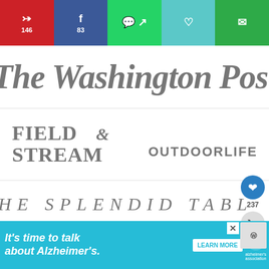[Figure (screenshot): Social sharing bar with Pinterest (146), Facebook (83), WhatsApp, heart/save, and email buttons]
[Figure (logo): The Washington Post newspaper logo in gray serif italic font]
[Figure (logo): Field & Stream magazine logo in gray bold uppercase serif]
[Figure (logo): Outdoor Life magazine logo in gray bold uppercase sans-serif]
[Figure (logo): The Splendid Table logo in gray spaced uppercase italic serif]
[Figure (logo): Chicago Tribune newspaper logo in gray bold italic serif]
[Figure (logo): Trvl (partially visible) logo in gray bold sans-serif with CH. subtitle]
[Figure (screenshot): Floating UI: heart/save button showing 237, share button]
[Figure (screenshot): What's Next panel: Nordic Goose Soup with food thumbnail]
[Figure (screenshot): Advertisement banner: It's time to talk about Alzheimer's. LEARN MORE, Alzheimer's Association logo]